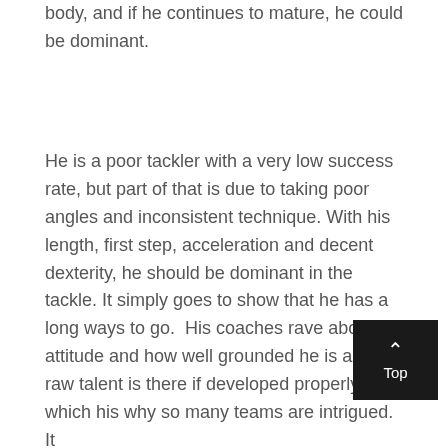body, and if he continues to mature, he could be dominant.
He is a poor tackler with a very low success rate, but part of that is due to taking poor angles and inconsistent technique. With his length, first step, acceleration and decent dexterity, he should be dominant in the tackle. It simply goes to show that he has a long ways to go.  His coaches rave about his attitude and how well grounded he is and the raw talent is there if developed properly, which his why so many teams are intrigued. It